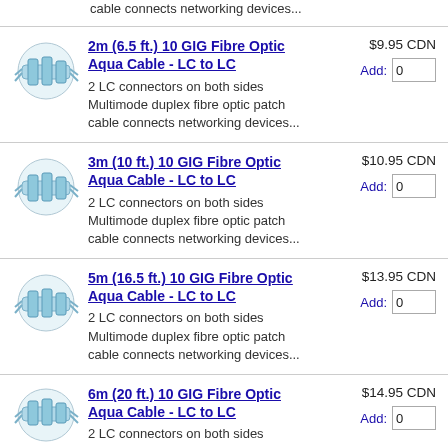cable connects networking devices...
[Figure (photo): Fibre optic LC to LC cable connector - aqua colored]
2m (6.5 ft.) 10 GIG Fibre Optic Aqua Cable - LC to LC
$9.95 CDN
2 LC connectors on both sides
Multimode duplex fibre optic patch cable connects networking devices...
Add: 0
[Figure (photo): Fibre optic LC to LC cable connector - aqua colored]
3m (10 ft.) 10 GIG Fibre Optic Aqua Cable - LC to LC
$10.95 CDN
2 LC connectors on both sides
Multimode duplex fibre optic patch cable connects networking devices...
Add: 0
[Figure (photo): Fibre optic LC to LC cable connector - aqua colored]
5m (16.5 ft.) 10 GIG Fibre Optic Aqua Cable - LC to LC
$13.95 CDN
2 LC connectors on both sides
Multimode duplex fibre optic patch cable connects networking devices...
Add: 0
[Figure (photo): Fibre optic LC to LC cable connector - aqua colored]
6m (20 ft.) 10 GIG Fibre Optic Aqua Cable - LC to LC
$14.95 CDN
2 LC connectors on both sides
Add: 0